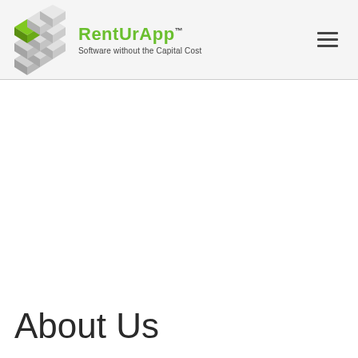[Figure (logo): RentUrApp logo: a 3D cube made of grey blocks with a green block on top-left, alongside the text 'RentUrApp™' in green bold font with tagline 'Software without the Capital Cost' in dark grey. A hamburger menu icon (three horizontal lines) is on the right side of the header.]
About Us